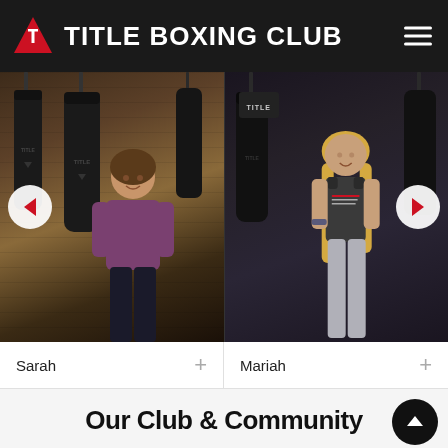TITLE BOXING CLUB
[Figure (photo): Webpage screenshot of Title Boxing Club showing two member photos (Sarah and Mariah) in a boxing gym with heavy bags, navigation arrows, name labels, and a community section with social media icons at the bottom.]
Sarah
Mariah
Our Club & Community